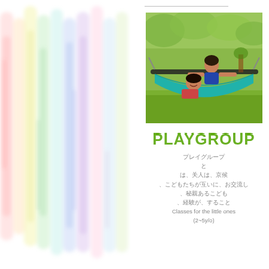[Figure (illustration): Colorful vertical crayon/watercolor stripe pattern on the left half of the page]
[Figure (photo): Two children playing in a teal hammock outdoors in a green park setting]
PLAYGROUP
Japanese text lines (multiple lines of Japanese characters)
Classes for the little ones (2~5y/o)